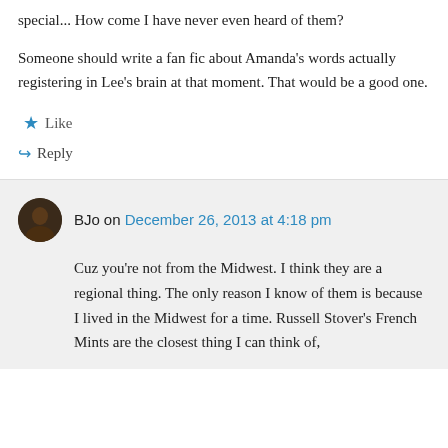special... How come I have never even heard of them?
Someone should write a fan fic about Amanda's words actually registering in Lee's brain at that moment. That would be a good one.
★ Like
↪ Reply
BJo on December 26, 2013 at 4:18 pm
Cuz you're not from the Midwest. I think they are a regional thing. The only reason I know of them is because I lived in the Midwest for a time. Russell Stover's French Mints are the closest thing I can think of,